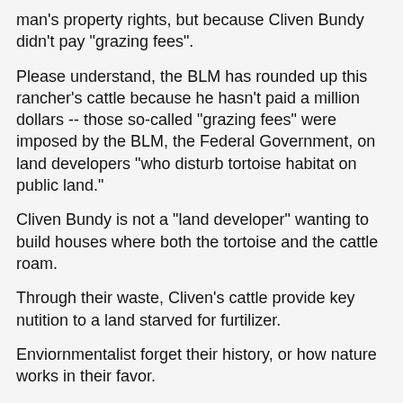man's property rights, but because Cliven Bundy didn't pay "grazing fees".
Please understand, the BLM has rounded up this rancher's cattle because he hasn't paid a million dollars -- those so-called "grazing fees" were imposed by the BLM, the Federal Government, on land developers "who disturb tortoise habitat on public land."
Cliven Bundy is not a "land developer" wanting to build houses where both the tortoise and the cattle roam.
Through their waste, Cliven's cattle provide key nutition to a land starved for furtilizer.
Enviornmentalist forget their history, or how nature works in their favor.
They forget that America was covered with Bison, American Buffalo, and through their waste, their manure, the land received needed nutrion.